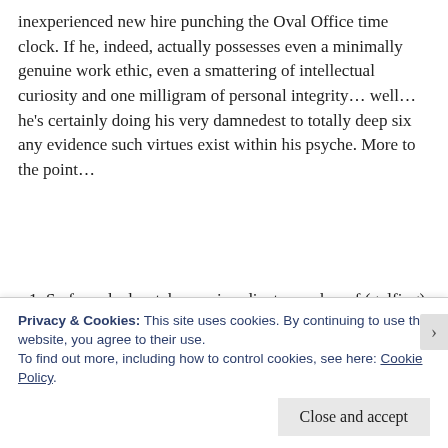inexperienced new hire punching the Oval Office time clock. If he, indeed, actually possesses even a minimally genuine work ethic, even a smattering of intellectual curiosity and one milligram of personal integrity... well... he's certainly doing his very damnedest to totally deep six any evidence such virtues exist within his psyche. More to the point...
So far... he has taken an inordinate number of (golfing) breaks, which I suppose is not all bad. After all, it's whenever he IS "on the job" that the real damage begins. His idea of "a job well done" is to mass-produce chaos. More specifically... his battle plan is to unleash economic and ecological devastation... belittle and
Privacy & Cookies: This site uses cookies. By continuing to use this website, you agree to their use.
To find out more, including how to control cookies, see here: Cookie Policy